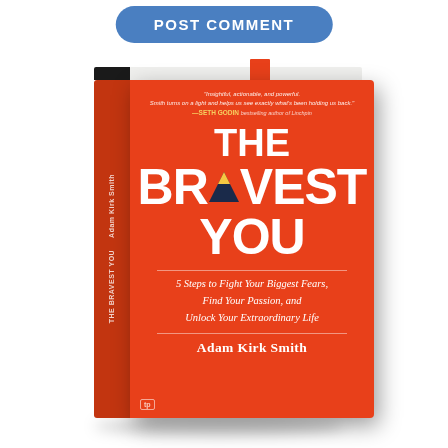POST COMMENT
[Figure (photo): Book cover of 'The Bravest You' by Adam Kirk Smith. Orange hardcover book shown in 3D perspective with spine visible. Title reads 'THE BRAVEST YOU' in large white bold text with a mountain icon replacing the letter A in BRAVEST. Subtitle: '5 Steps to Fight Your Biggest Fears, Find Your Passion, and Unlock Your Extraordinary Life'. Blurb from Seth Godin at top. Publisher: TarcherPerigee.]